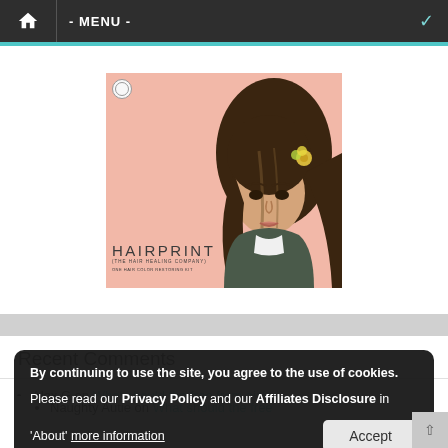- MENU -
[Figure (illustration): Hairprint hair color restoring kit product advertisement. Pink/salmon background with illustrated woman with dark wavy hair and flower, text reads HAIRPRINT (THE HAIR HEALING COMPANY) ONE HAIR COLOR RESTORING KIT]
Recent Comments
Alex G on What should the free from aisle...
Naughty Autie on What should the free from aisle be free from?
By continuing to use the site, you agree to the use of cookies. Please read our Privacy Policy and our Affiliates Disclosure in 'About' more information
Accept